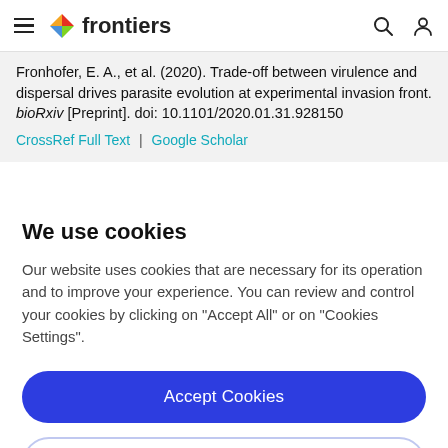frontiers [navigation bar with hamburger menu, logo, search and user icons]
Fronhofer, E. A., et al. (2020). Trade-off between virulence and dispersal drives parasite evolution at experimental invasion front. bioRxiv [Preprint]. doi: 10.1101/2020.01.31.928150
CrossRef Full Text | Google Scholar
We use cookies
Our website uses cookies that are necessary for its operation and to improve your experience. You can review and control your cookies by clicking on "Accept All" or on "Cookies Settings".
Accept Cookies
Cookies Settings